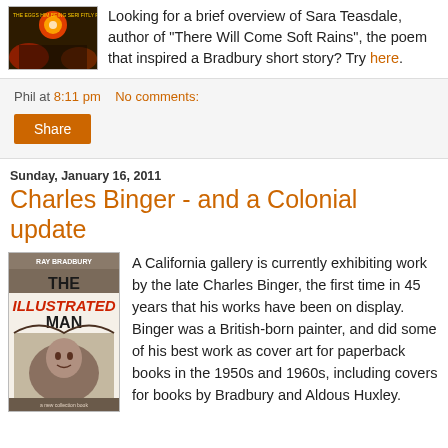[Figure (photo): Book cover image - colorful science fiction paperback cover]
Looking for a brief overview of Sara Teasdale, author of "There Will Come Soft Rains", the poem that inspired a Bradbury short story? Try here.
Phil at 8:11 pm   No comments:
Share
Sunday, January 16, 2011
Charles Binger - and a Colonial update
[Figure (photo): The Illustrated Man by Ray Bradbury book cover]
A California gallery is currently exhibiting work by the late Charles Binger, the first time in 45 years that his works have been on display. Binger was a British-born painter, and did some of his best work as cover art for paperback books in the 1950s and 1960s, including covers for books by Bradbury and Aldous Huxley.